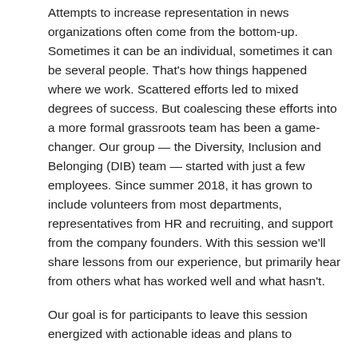Attempts to increase representation in news organizations often come from the bottom-up. Sometimes it can be an individual, sometimes it can be several people. That's how things happened where we work. Scattered efforts led to mixed degrees of success. But coalescing these efforts into a more formal grassroots team has been a game-changer. Our group — the Diversity, Inclusion and Belonging (DIB) team — started with just a few employees. Since summer 2018, it has grown to include volunteers from most departments, representatives from HR and recruiting, and support from the company founders. With this session we'll share lessons from our experience, but primarily hear from others what has worked well and what hasn't.
Our goal is for participants to leave this session energized with actionable ideas and plans to